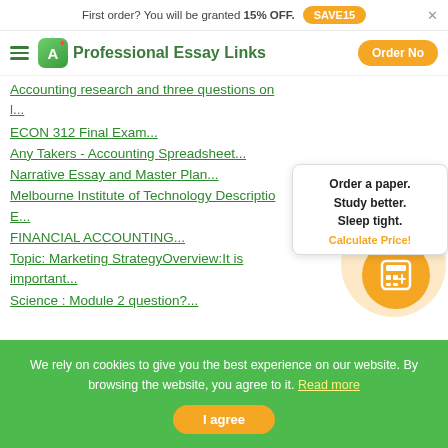First order? You will be granted 15% OFF. SAVE15
Professional Essay Links
ECON 312 Final Exam...
Any Takers - Accounting Spreadsheet...
Narrative Essay and Master Plan...
Melbourne Institute of Technology Descriptio E...
FINANCIAL ACCOUNTING...
Topic: Marketing StrategyOverview:It is important...
Science : Module 2 question?...
Order a paper. Study better. Sleep tight. Calculate Price!
We rely on cookies to give you the best experience on our website. By browsing the website, you agree to it. Read more
I agree